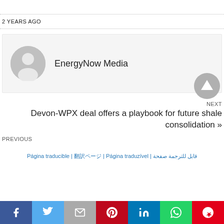2 YEARS AGO
[Figure (illustration): Author avatar placeholder circle with person silhouette icon]
EnergyNow Media
NEXT
Devon-WPX deal offers a playbook for future shale consolidation »
PREVIOUS
Página traducible | 翻訳ページ | Página traduzível | قابل للترجمة صفحة
[Figure (infographic): Social media share buttons: Facebook, Twitter, Email, Pinterest, LinkedIn, WhatsApp, Flipboard]